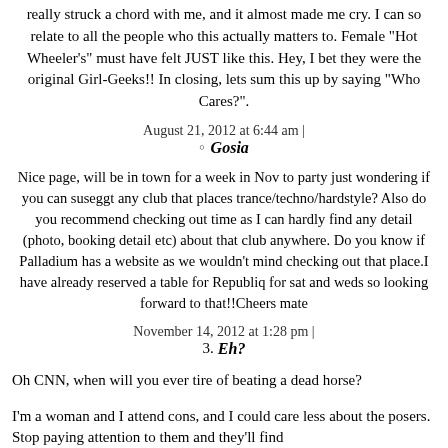really struck a chord with me, and it almost made me cry. I can so relate to all the people who this actually matters to. Female "Hot Wheeler's" must have felt JUST like this. Hey, I bet they were the original Girl-Geeks!! In closing, lets sum this up by saying "Who Cares?".
August 21, 2012 at 6:44 am |
Gosia
Nice page, will be in town for a week in Nov to party just wondering if you can suseggt any club that places trance/techno/hardstyle? Also do you recommend checking out time as I can hardly find any detail (photo, booking detail etc) about that club anywhere. Do you know if Palladium has a website as we wouldn't mind checking out that place.I have already reserved a table for Republiq for sat and weds so looking forward to that!!Cheers mate
November 14, 2012 at 1:28 pm |
Eh?
Oh CNN, when will you ever tire of beating a dead horse?
I'm a woman and I attend cons, and I could care less about the posers. Stop paying attention to them and they'll find